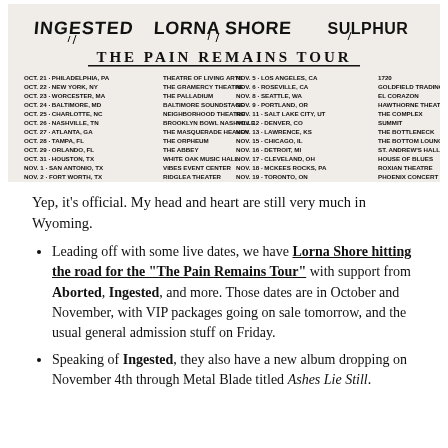[Figure (other): Tour flyer for 'The Pain Remains Tour' featuring band logos for Ingested, Lorna Shore, and Sulphur at top. Below lists tour dates from Oct 21 through Nov 20 across US and Canada venues.]
Yep, it's official. My head and heart are still very much in Wyoming.
Leading off with some live dates, we have Lorna Shore hitting the road for the "The Pain Remains Tour" with support from Aborted, Ingested, and more. Those dates are in October and November, with VIP packages going on sale tomorrow, and the usual general admission stuff on Friday.
Speaking of Ingested, they also have a new album dropping on November 4th through Metal Blade titled Ashes Lie Still.